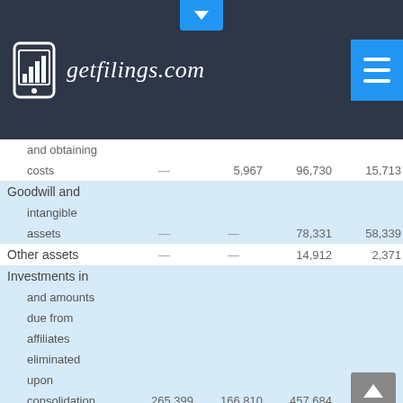getfilings.com
|  | Col1 | Col2 | Col3 | Col4 | Col5 |
| --- | --- | --- | --- | --- | --- |
| and obtaining |  |  |  |  |  |
| costs | — | 5,967 | 96,730 | 15,713 | — |
| Goodwill and intangible assets | — | — | 78,331 | 58,339 | — |
| Other assets | — | — | 14,912 | 2,371 | — |
| Investments in and amounts due from affiliates eliminated upon consolidation | 265,399 | 166,810 | 457,684 | — | (889,89 |